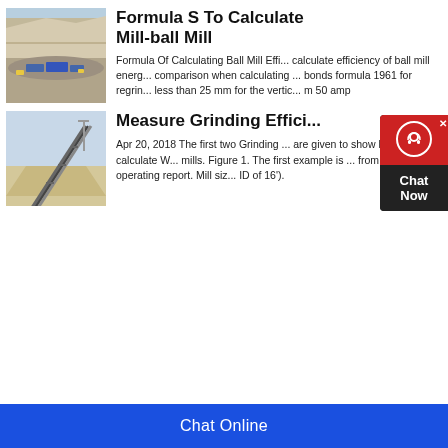[Figure (photo): Aerial view of an open-pit quarry with heavy machinery and blue crushing/screening equipment on the floor of the quarry.]
Formula S To Calculate Mill-ball Mill
Formula Of Calculating Ball Mill Effi... calculate efficiency of ball mill energ... comparison when calculating ... bonds formula 1961 for regrin... less than 25 mm for the vertic... m 50 amp
[Figure (photo): Industrial conveyor belt system at a mining or aggregate facility, with a steep inclined belt transporting material, large stockpile visible in background.]
Measure Grinding Effici...
Apr 20, 2018 The first two Grinding ... are given to show how to calculate W... mills. Figure 1. The first example is ... from a daily operating report. Mill siz... ID of 16').
Chat Online